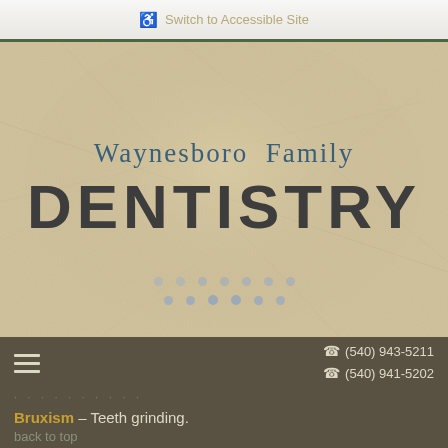♿ Switch to Accessible Site
[Figure (logo): Waynesboro Family Dentistry logo banner with tan/beige textured background, text reads 'Waynesboro Family DENTISTRY' with pagination dots below]
☎ (540) 943-5211  ☎ (540) 941-5202
Bruxism – Teeth grinding.
back to top
C